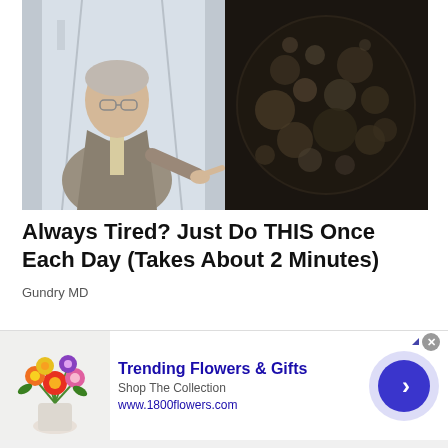[Figure (photo): Composite image: left side shows an elderly doctor in a grey suit pointing to the right, standing in a hospital corridor; right side shows a close-up of boiling water or bubbling dark liquid in a pan.]
Always Tired? Just Do THIS Once Each Day (Takes About 2 Minutes)
Gundry MD
[Figure (photo): Advertisement banner: left shows a bouquet of colorful flowers in a white vase. Text reads 'Trending Flowers & Gifts', 'Shop The Collection', 'www.1800flowers.com'. Right side shows a blue arrow button circle.]